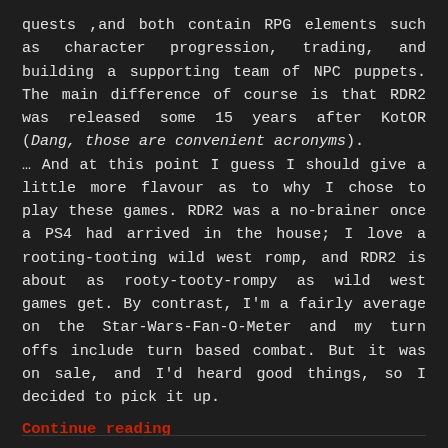quests ,and both contain RPG elements such as character progression, trading, and building a supporting team of NPC puppets. The main difference of course is that RDR2 was released some 15 years after KotOR (Dang, those are convenient acronyms). … And at this point I guess I should give a little more flavour as to why I chose to play these games. RDR2 was a no-brainer once a PS4 had arrived in the house; I love a rooting-tooting wild west romp, and RDR2 is about as rooty-tooty-rompy as wild west games get. By contrast, I'm a fairly average on the Star-Wars-Fan-O-Meter and my turn offs include turn based combat. But it was on sale, and I'd heard good things, so I decided to pick it up.
Continue reading
JULY 15, 2022 / 1 COMMENT